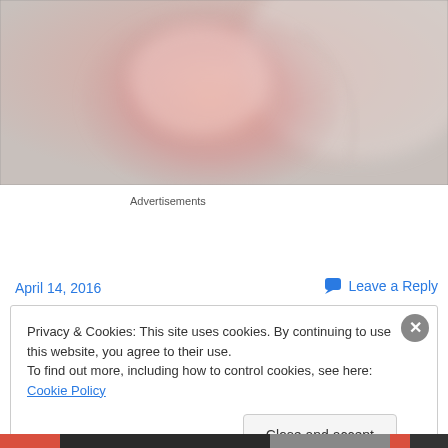[Figure (photo): A blurry/soft-focus photograph showing a pinkish rounded shape against a light background, cropped at the top of the page.]
Advertisements
April 14, 2016
Leave a Reply
Privacy & Cookies: This site uses cookies. By continuing to use this website, you agree to their use.
To find out more, including how to control cookies, see here: Cookie Policy
Close and accept